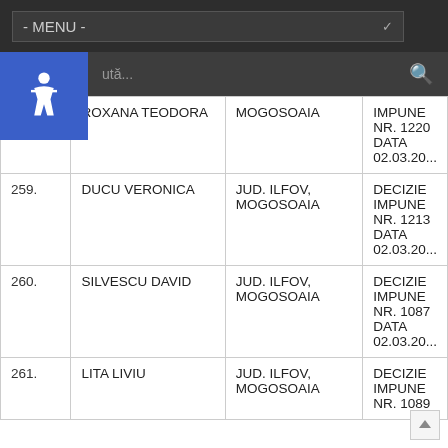| Nr. | Nume | Localitate | Document |
| --- | --- | --- | --- |
|  | ROXANA TEODORA | MOGOSOAIA | IMPUNE NR. 1220 DATA 02.03.20... |
| 259. | DUCU VERONICA | JUD. ILFOV, MOGOSOAIA | DECIZIE IMPUNE NR. 1213 DATA 02.03.20... |
| 260. | SILVESCU DAVID | JUD. ILFOV, MOGOSOAIA | DECIZIE IMPUNE NR. 1087 DATA 02.03.20... |
| 261. | LITA LIVIU | JUD. ILFOV, MOGOSOAIA | DECIZIE IMPUNE NR. 1089 |